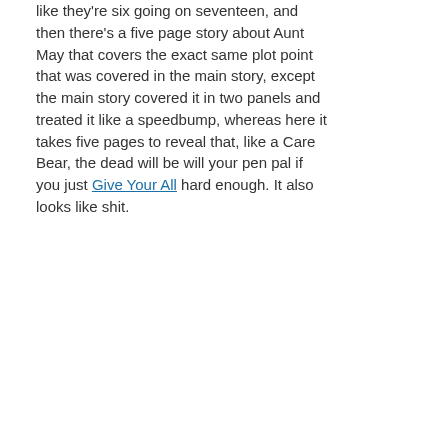like they're six going on seventeen, and then there's a five page story about Aunt May that covers the exact same plot point that was covered in the main story, except the main story covered it in two panels and treated it like a speedbump, whereas here it takes five pages to reveal that, like a Care Bear, the dead will be will your pen pal if you just Give Your All hard enough. It also looks like shit.